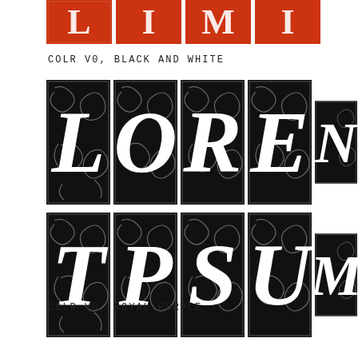[Figure (illustration): Partial top row of decorative ornamental letter blocks with red/orange background, showing letters partially cropped at top of page]
COLR V0, BLACK AND WHITE
[Figure (illustration): Row 1 of black and white ornamental letter blocks on black background with white swirl decorations, showing letters L, O, R, E, N (partially cropped)]
[Figure (illustration): Row 2 of black and white ornamental letter blocks on black background with white swirl decorations, showing letters T, P, S, U, M (partially cropped)]
COLR V0, ROYAL PURPLE